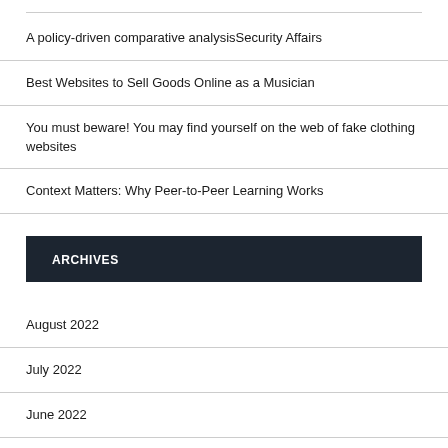A policy-driven comparative analysisSecurity Affairs
Best Websites to Sell Goods Online as a Musician
You must beware! You may find yourself on the web of fake clothing websites
Context Matters: Why Peer-to-Peer Learning Works
ARCHIVES
August 2022
July 2022
June 2022
May 2022